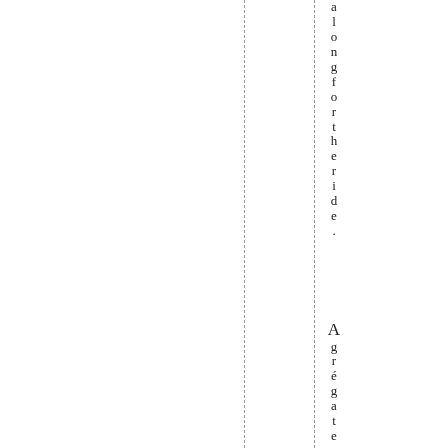along for the ride. Agréateurs Accompagnis
vertical dashed lines